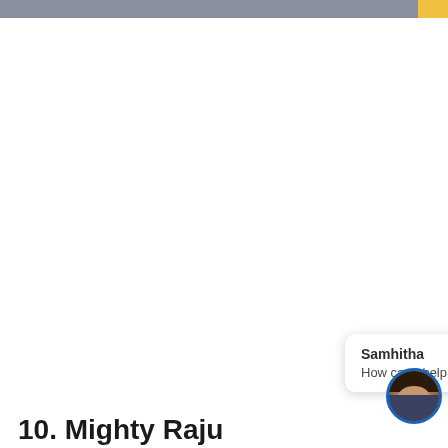[Figure (illustration): Chat bubble with avatar. Name: Samhitha. Message: How can I help you? Avatar shows a woman in a blue-bordered circular frame.]
10. Mighty Raju